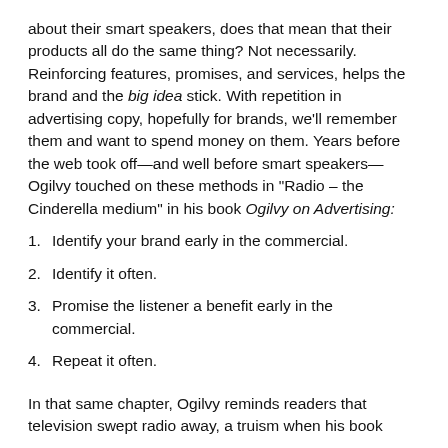about their smart speakers, does that mean that their products all do the same thing? Not necessarily. Reinforcing features, promises, and services, helps the brand and the big idea stick. With repetition in advertising copy, hopefully for brands, we'll remember them and want to spend money on them. Years before the web took off—and well before smart speakers—Ogilvy touched on these methods in "Radio – the Cinderella medium" in his book Ogilvy on Advertising:
1. Identify your brand early in the commercial.
2. Identify it often.
3. Promise the listener a benefit early in the commercial.
4. Repeat it often.
In that same chapter, Ogilvy reminds readers that television swept radio away, a truism when his book